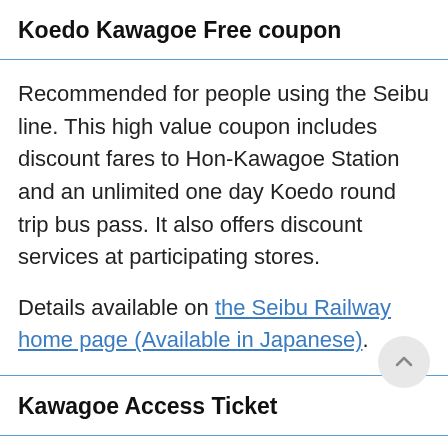Koedo□Kawagoe Free coupon
Recommended for people using the Seibu line. This high value coupon includes discount fares to Hon-Kawagoe Station and an unlimited one day Koedo round trip bus pass. It also offers discount services at participating stores.
Details available on the Seibu Railway home page (Available in Japanese).
Kawagoe Access Ticket
Recommended for people using the Seibu line. This coupon includes a round trip from Seibu